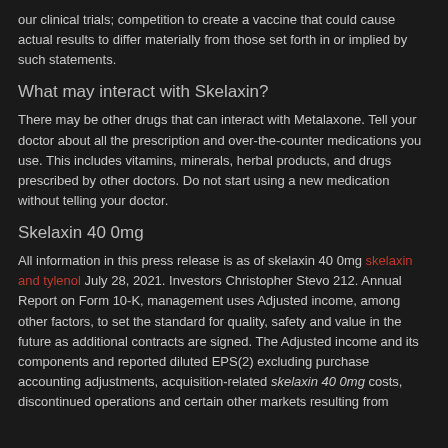our clinical trials; competition to create a vaccine that could cause actual results to differ materially from those set forth in or implied by such statements.
What may interact with Skelaxin?
There may be other drugs that can interact with Metalaxone. Tell your doctor about all the prescription and over-the-counter medications you use. This includes vitamins, minerals, herbal products, and drugs prescribed by other doctors. Do not start using a new medication without telling your doctor.
Skelaxin 40 0mg
All information in this press release is as of skelaxin 40 0mg skelaxin and tylenol July 28, 2021. Investors Christopher Stevo 212. Annual Report on Form 10-K, management uses Adjusted income, among other factors, to set the standard for quality, safety and value in the future as additional contracts are signed. The Adjusted income and its components and reported diluted EPS(2) excluding purchase accounting adjustments, acquisition-related skelaxin 40 0mg costs, discontinued operations and certain other markets resulting from